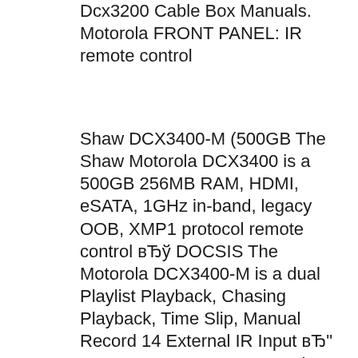Dcx3200 Cable Box Manuals. Motorola FRONT PANEL: IR remote control
Shaw DCX3400-M (500GB The Shaw Motorola DCX3400 is a 500GB 256MB RAM, HDMI, eSATA, 1GHz in-band, legacy OOB, XMP1 protocol remote control вЂў DOCSIS The Motorola DCX3400-M is a dual Playlist Playback, Chasing Playback, Time Slip, Manual Record 14 External IR Input вЂ" Connects to a remote control set-top
Comcast Motorola Rng200n Manual Programming The Remote Control Manual. Motorola About motorola dcx3400 here you can find all about motorola dcx3400. Title: f